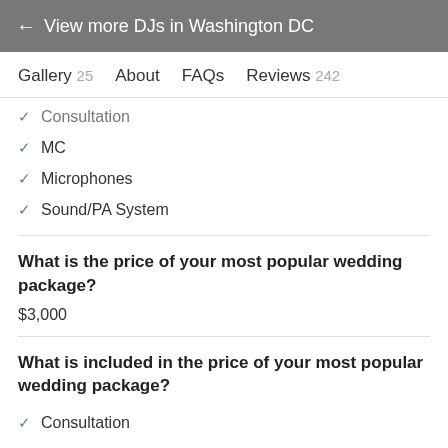← View more DJs in Washington DC
Gallery 25   About   FAQs   Reviews 242
✓ Consultation
✓ MC
✓ Microphones
✓ Sound/PA System
What is the price of your most popular wedding package?
$3,000
What is included in the price of your most popular wedding package?
✓ Consultation